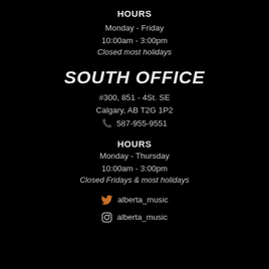HOURS
Monday - Friday
10:00am - 3:00pm
Closed most holidays
SOUTH OFFICE
#300, 851 - 4St. SE
Calgary, AB  T2G 1P2
📞 587-955-9551
HOURS
Monday - Thursday
10:00am - 3:00pm
Closed Fridays & most holidays
alberta_music
alberta_music